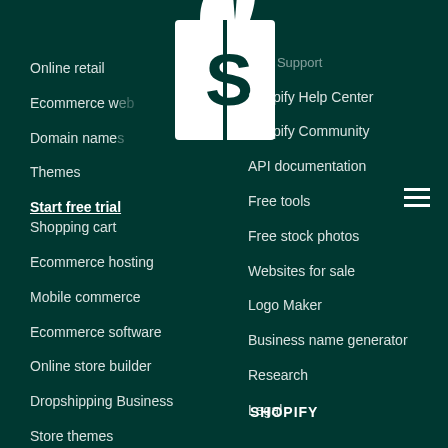[Figure (logo): Shopify white shopping bag logo with S letter, partially overlapping the navigation menu]
Online retail
Ecommerce w...
Domain name...
Themes
Start free trial
Shopping cart
Ecommerce hosting
Mobile commerce
Ecommerce software
Online store builder
Dropshipping Business
Store themes
...47 Support
Shopify Help Center
Shopify Community
API documentation
Free tools
Free stock photos
Websites for sale
Logo Maker
Business name generator
Research
Legal
SHOPIFY